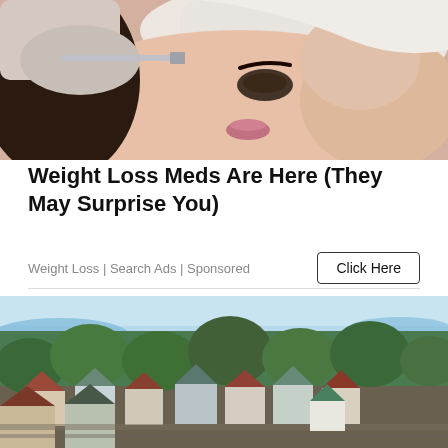[Figure (photo): Woman receiving a facial injection or treatment, wearing a white headband, lying down with a gloved hand holding a syringe near her face]
Weight Loss Meds Are Here (They May Surprise You)
Weight Loss | Search Ads | Sponsored
[Figure (photo): Aerial view of a residential suburban neighborhood with houses, trees, and a body of water visible in the background]